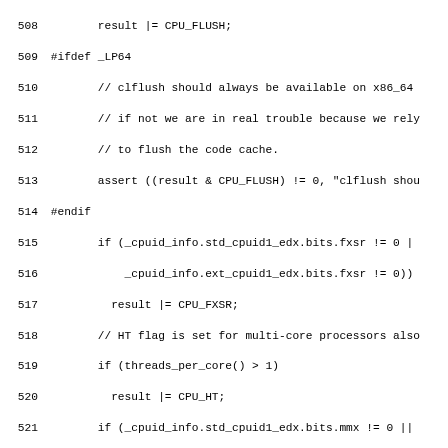Source code listing, lines 508-537, showing CPU feature detection logic in C++